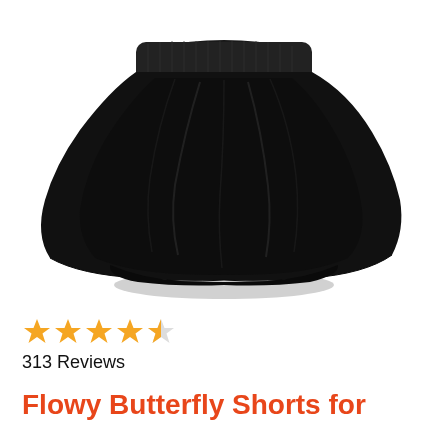[Figure (photo): Black flowy butterfly shorts/skirt with smocked elastic waistband and drawstring tie, photographed on white background]
★★★★½ 313 Reviews
Flowy Butterfly Shorts for